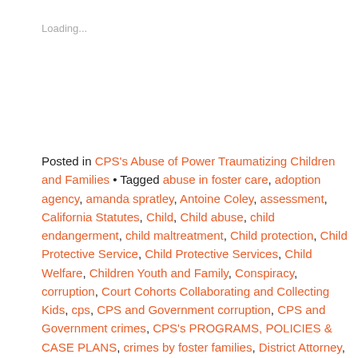Loading...
Posted in CPS's Abuse of Power Traumatizing Children and Families • Tagged abuse in foster care, adoption agency, amanda spratley, Antoine Coley, assessment, California Statutes, Child, Child abuse, child endangerment, child maltreatment, Child protection, Child Protective Service, Child Protective Services, Child Welfare, Children Youth and Family, Conspiracy, corruption, Court Cohorts Collaborating and Collecting Kids, cps, CPS and Government corruption, CPS and Government crimes, CPS's PROGRAMS, POLICIES & CASE PLANS, crimes by foster families, District Attorney, Donnelly, Donnelly Keaton Burns, evidence, Evidence, fabrication, falsification, FFA, foster care, Foster family agency, fraudulent reports of no abuse, hospital, injuries to children swept under rug, injury, jennie pettet, judges, judges. Riverside County., Juvenile court, kidnapping, Kristine Vernier, law, Marla Mahoney, neglect in